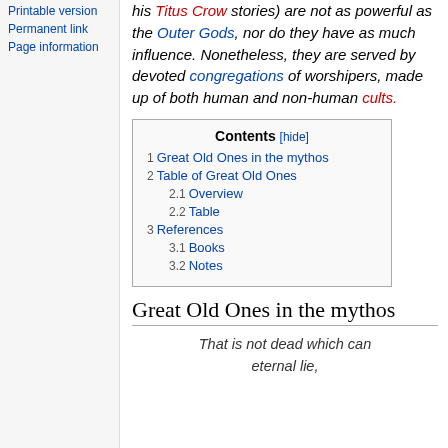Printable version
Permanent link
Page information
his Titus Crow stories) are not as powerful as the Outer Gods, nor do they have as much influence. Nonetheless, they are served by devoted congregations of worshipers, made up of both human and non-human cults.
| Contents [hide] |
| --- |
| 1  Great Old Ones in the mythos |
| 2  Table of Great Old Ones |
| 2.1  Overview |
| 2.2  Table |
| 3  References |
| 3.1  Books |
| 3.2  Notes |
Great Old Ones in the mythos
That is not dead which can eternal lie,